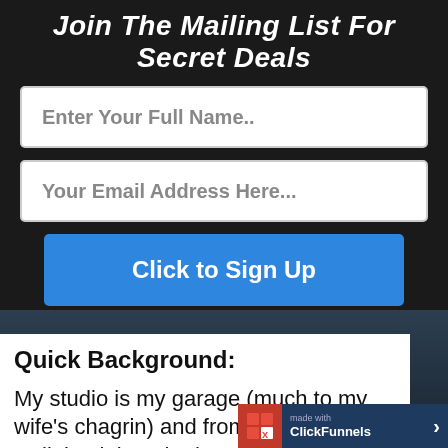Join The Mailing List For Secret Deals
[Figure (screenshot): Email signup form with two input fields: 'Enter Your Full Name..' and 'Your Email Address Here...' and a blue 'Click to Sign Up' button]
Quick Background:
My studio is my garage (much to my wife's chagrin) and from time to time I walk back into the house to
[Figure (logo): ClickFunnels 'made with' badge in bottom right corner]